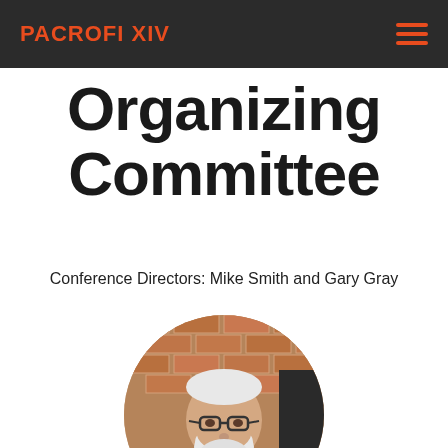PACROFI XIV
Organizing Committee
Conference Directors: Mike Smith and Gary Gray
[Figure (photo): Circular cropped photo of a man with white beard and glasses wearing a red t-shirt, standing in front of a brick wall]